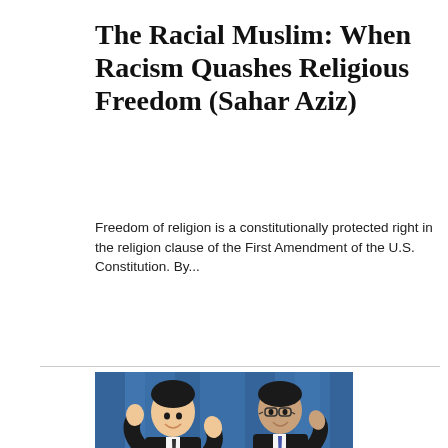The Racial Muslim: When Racism Quashes Religious Freedom (Sahar Aziz)
Freedom of religion is a constitutionally protected right in the religion clause of the First Amendment of the U.S. Constitution. By...
[Figure (photo): Photo of two men in suits at a press conference podium with microphones, under blue curtains, with a banner reading POLITICS AND POLLS in large blue and red letters]